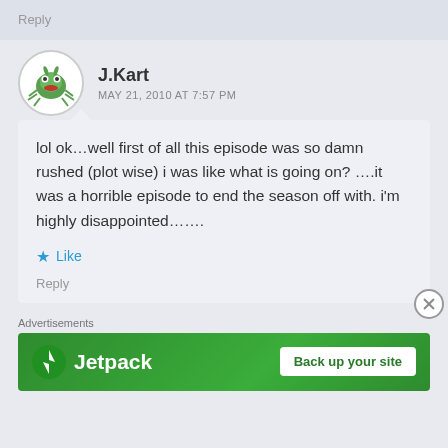Reply
J.Kart
MAY 21, 2010 AT 7:57 PM
lol ok…well first of all this episode was so damn rushed (plot wise) i was like what is going on? ….it was a horrible episode to end the season off with. i'm highly disappointed…….
Like
Reply
Advertisements
[Figure (screenshot): Jetpack advertisement banner with logo and 'Back up your site' button]